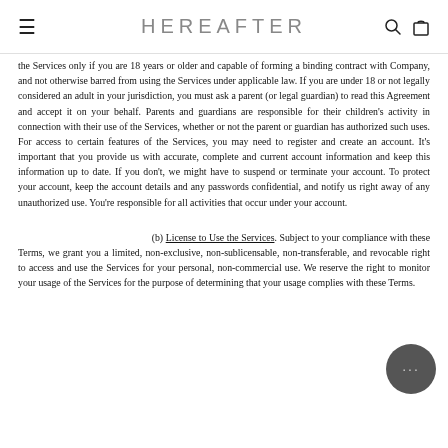≡  HEREAFTER  🔍 🛍
the Services only if you are 18 years or older and capable of forming a binding contract with Company, and not otherwise barred from using the Services under applicable law. If you are under 18 or not legally considered an adult in your jurisdiction, you must ask a parent (or legal guardian) to read this Agreement and accept it on your behalf. Parents and guardians are responsible for their children's activity in connection with their use of the Services, whether or not the parent or guardian has authorized such uses. For access to certain features of the Services, you may need to register and create an account. It's important that you provide us with accurate, complete and current account information and keep this information up to date. If you don't, we might have to suspend or terminate your account. To protect your account, keep the account details and any passwords confidential, and notify us right away of any unauthorized use. You're responsible for all activities that occur under your account.
(b) License to Use the Services. Subject to your compliance with these Terms, we grant you a limited, non-exclusive, non-sublicensable, non-transferable, and revocable right to access and use the Services for your personal, non-commercial use. We reserve the right to monitor your usage of the Services for the purpose of determining that your usage complies with these Terms.